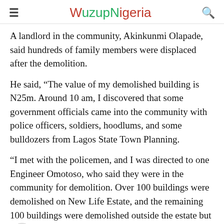WuzupNigeria
A landlord in the community, Akinkunmi Olapade, said hundreds of family members were displaced after the demolition.
He said, “The value of my demolished building is N25m. Around 10 am, I discovered that some government officials came into the community with police officers, soldiers, hoodlums, and some bulldozers from Lagos State Town Planning.
“I met with the policemen, and I was directed to one Engineer Omotoso, who said they were in the community for demolition. Over 100 buildings were demolished on New Life Estate, and the remaining 100 buildings were demolished outside the estate but on the Oke Ira Family land.